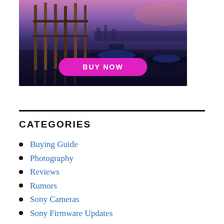[Figure (photo): Photograph of Venice gondolas docked at a pier at dusk/sunset with a magenta 'BUY NOW' button overlaid at the bottom center]
CATEGORIES
Buying Guide
Photography
Reviews
Rumors
Sony Cameras
Sony Firmware Updates